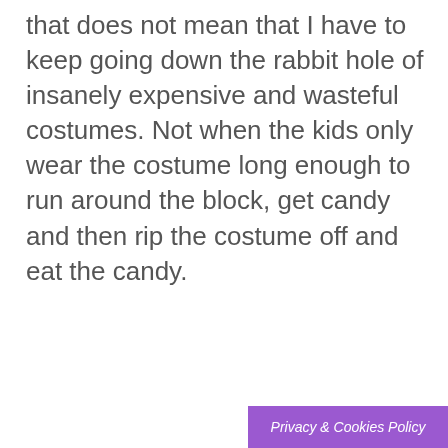that does not mean that I have to keep going down the rabbit hole of insanely expensive and wasteful costumes. Not when the kids only wear the costume long enough to run around the block, get candy and then rip the costume off and eat the candy.
Privacy & Cookies Policy